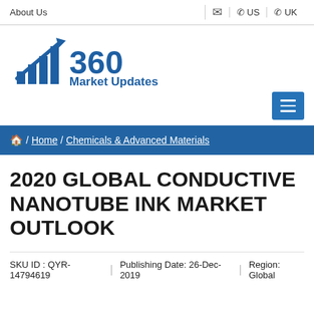About Us | ✉ | ☎ US | ☎ UK
[Figure (logo): 360 Market Updates logo with upward arrow and bar chart graphic]
≡ (menu button)
🏠 / Home / Chemicals & Advanced Materials
2020 GLOBAL CONDUCTIVE NANOTUBE INK MARKET OUTLOOK
SKU ID : QYR-14794619 | Publishing Date: 26-Dec-2019 | Region: Global